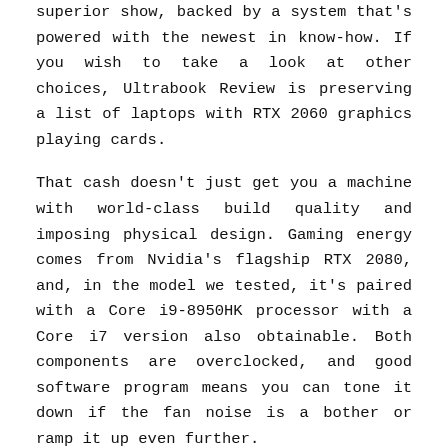superior show, backed by a system that's powered with the newest in know-how. If you wish to take a look at other choices, Ultrabook Review is preserving a list of laptops with RTX 2060 graphics playing cards.
That cash doesn't just get you a machine with world-class build quality and imposing physical design. Gaming energy comes from Nvidia's flagship RTX 2080, and, in the model we tested, it's paired with a Core i9-8950HK processor with a Core i7 version also obtainable. Both components are overclocked, and good software program means you can tone it down if the fan noise is a bother or ramp it up even further.
But are they right for you? Not necessarily! Hence, here's our careful information on the